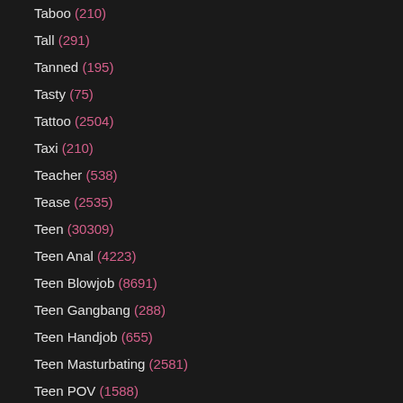Taboo (210)
Tall (291)
Tanned (195)
Tasty (75)
Tattoo (2504)
Taxi (210)
Teacher (538)
Tease (2535)
Teen (30309)
Teen Anal (4223)
Teen Blowjob (8691)
Teen Gangbang (288)
Teen Handjob (655)
Teen Masturbating (2581)
Teen POV (1588)
Teen Shemale (328)